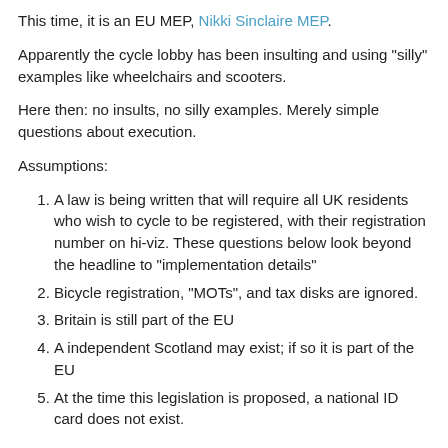This time, it is an EU MEP, Nikki Sinclaire MEP.
Apparently the cycle lobby has been insulting and using "silly" examples like wheelchairs and scooters.
Here then: no insults, no silly examples. Merely simple questions about execution.
Assumptions:
A law is being written that will require all UK residents who wish to cycle to be registered, with their registration number on hi-viz. These questions below look beyond the headline to "implementation details"
Bicycle registration, "MOTs", and tax disks are ignored.
Britain is still part of the EU
A independent Scotland may exist; if so it is part of the EU
At the time this legislation is proposed, a national ID card does not exist.